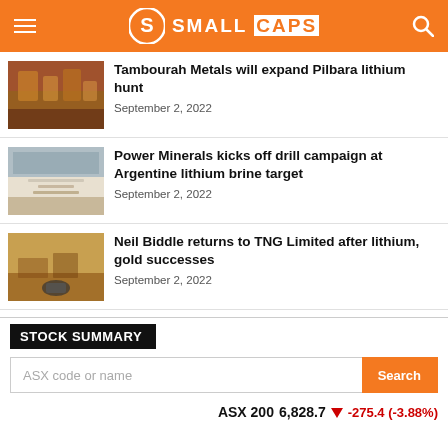SMALL CAPS
Tambourah Metals will expand Pilbara lithium hunt
September 2, 2022
Power Minerals kicks off drill campaign at Argentine lithium brine target
September 2, 2022
Neil Biddle returns to TNG Limited after lithium, gold successes
September 2, 2022
STOCK SUMMARY
ASX code or name
ASX 200 6,828.7 -275.4 (-3.88%)